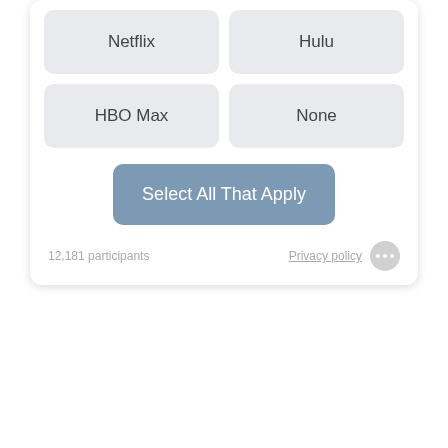Netflix
Hulu
HBO Max
None
Select All That Apply
12,181 participants
Privacy policy